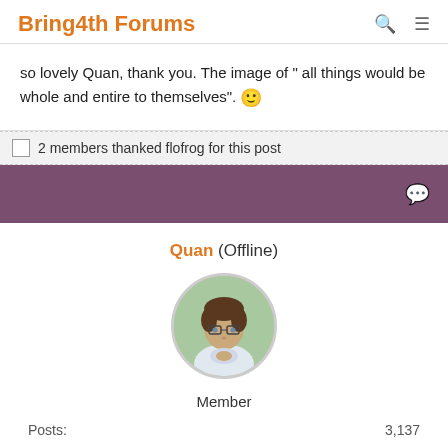Bring4th Forums
so lovely Quan, thank you.  The image of " all things would be whole and entire to themselves".  🙂
2 members thanked flofrog for this post
[Figure (other): Purple/mauve colored bar with a white chat bubble icon on the right side]
Quan (Offline)
[Figure (photo): Circular avatar photo of a young person with glasses, hands clasped, outdoors]
Member
Posts: 3,137